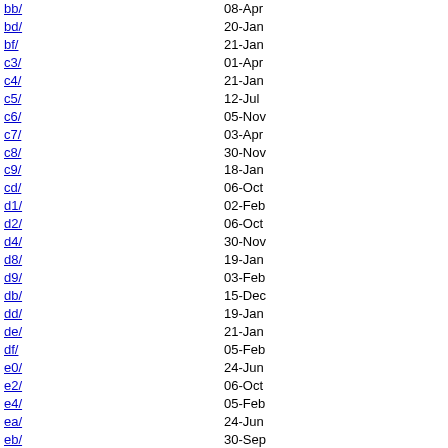bb/ — 08-Apr
bd/ — 20-Jan
bf/ — 21-Jan
c3/ — 01-Apr
c4/ — 21-Jan
c5/ — 12-Jul
c6/ — 05-Nov
c7/ — 03-Apr
c8/ — 30-Nov
c9/ — 18-Jan
cd/ — 06-Oct
d1/ — 02-Feb
d2/ — 06-Oct
d4/ — 30-Nov
d8/ — 19-Jan
d9/ — 03-Feb
db/ — 15-Dec
dd/ — 19-Jan
de/ — 21-Jan
df/ — 05-Feb
e0/ — 24-Jun
e2/ — 06-Oct
e4/ — 05-Feb
ea/ — 24-Jun
eb/ — 30-Sep
ec/ — 24-Jun
f1/ — 02-Feb
f3/ — 11-Feb
f5/ — 15-Feb
f7/ — 09-Nov
f9/ — 20-Jan